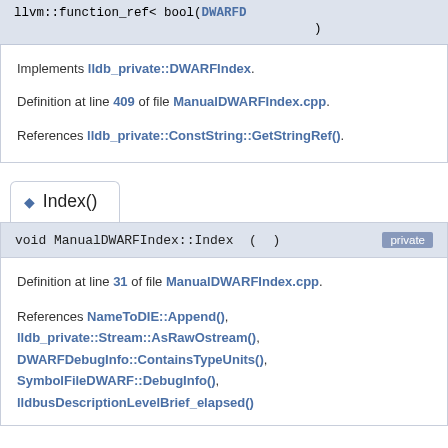llvm::function_ref< bool(DWARFDi...
)
Implements lldb_private::DWARFIndex.
Definition at line 409 of file ManualDWARFIndex.cpp.
References lldb_private::ConstString::GetStringRef().
◆ Index()
void ManualDWARFIndex::Index ( )  private
Definition at line 31 of file ManualDWARFIndex.cpp.
References NameToDIE::Append(), lldb_private::Stream::AsRawOstream(), DWARFDebugInfo::ContainsTypeUnits(), SymbolFileDWARF::DebugInfo(), lldbusDescriptionLevelBrief_elapsed().